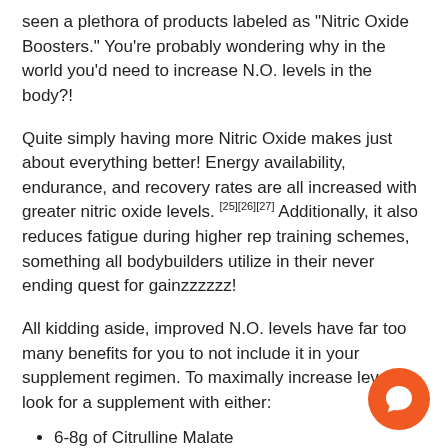seen a plethora of products labeled as "Nitric Oxide Boosters." You're probably wondering why in the world you'd need to increase N.O. levels in the body?!
Quite simply having more Nitric Oxide makes just about everything better! Energy availability, endurance, and recovery rates are all increased with greater nitric oxide levels. [25][26][27] Additionally, it also reduces fatigue during higher rep training schemes, something all bodybuilders utilize in their never ending quest for gainzzzzzz!
All kidding aside, improved N.O. levels have far too many benefits for you to not include it in your supplement regimen. To maximally increase levels, look for a supplement with either:
6-8g of Citrulline Malate
3-4g of L-Citrulline